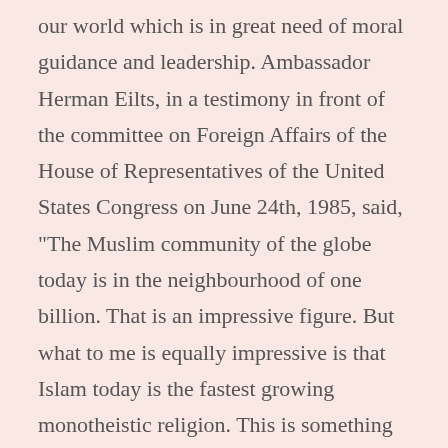our world which is in great need of moral guidance and leadership. Ambassador Herman Eilts, in a testimony in front of the committee on Foreign Affairs of the House of Representatives of the United States Congress on June 24th, 1985, said, "The Muslim community of the globe today is in the neighbourhood of one billion. That is an impressive figure. But what to me is equally impressive is that Islam today is the fastest growing monotheistic religion. This is something we have to take into account. Something is right about Islam. It is attracting a good many people." Yes, something is right about Islam and it is time to find that out. I hope this study is a step on this direction.